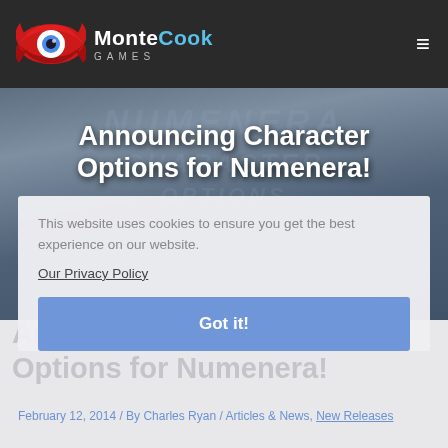Monte Cook Games
[Figure (screenshot): Monte Cook Games website header with logo (red wing eye icon) and white Monte Cook Games text on dark background, hamburger menu icon on right]
Announcing Character Options for Numenera!
[Figure (photo): Hero banner image with Numenera branding in dark blue-grey tones, background text reading NUMENERA CHARACTER OPTIONS]
This website uses cookies to ensure you get the best experience on our website.
Our Privacy Policy
Got it!
Announcing Character Options for Numenera!
February 12, 2014 / By Charles Ryan / Articles & News, New Releases